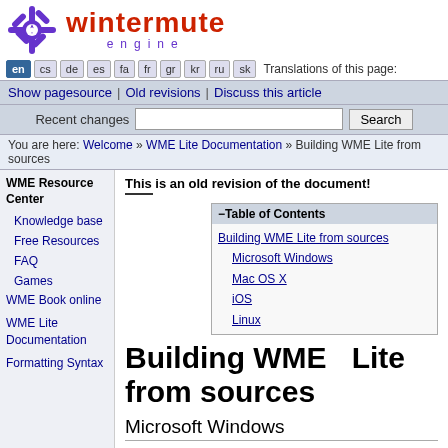[Figure (logo): Wintermute Engine logo with purple snowflake and red/purple text]
en cs de es fa fr gr kr ru sk  Translations of this page:
Show pagesource | Old revisions | Discuss this article
Recent changes  [search box]  Search
You are here: Welcome » WME Lite Documentation » Building WME Lite from sources
This is an old revision of the document!
Building WME Lite from sources
| Table of Contents |
| --- |
| Building WME Lite from sources |
| Microsoft Windows |
| Mac OS X |
| iOS |
| Linux |
Microsoft Windows
Obtain sources from Mercurial repository: https://bitbucket.org/MnemonicWME/wmelite/
Download dependencies for Visual Studio (dep_visualc2008.zip):